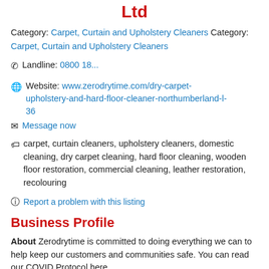Ltd
Category: Carpet, Curtain and Upholstery Cleaners Category: Carpet, Curtain and Upholstery Cleaners
Landline: 0800 18...
Website: www.zerodrytime.com/dry-carpet-upholstery-and-hard-floor-cleaner-northumberland-l-36
Message now
carpet, curtain cleaners, upholstery cleaners, domestic cleaning, dry carpet cleaning, hard floor cleaning, wooden floor restoration, commercial cleaning, leather restoration, recolouring
Report a problem with this listing
Business Profile
About Zerodrytime is committed to doing everything we can to help keep our customers and communities safe. You can read our COVID Protocol here.